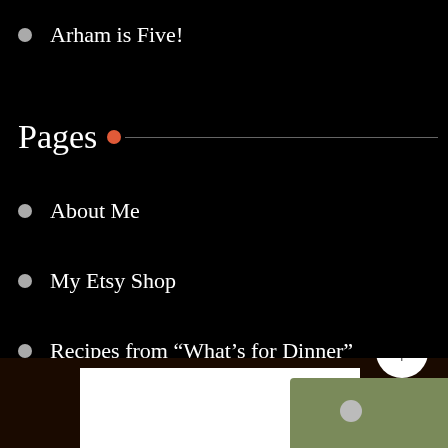Arham is Five!
Pages
About Me
My Etsy Shop
Recipes from “What’s for Dinner”
Purchase My Snapchat Filters
[Figure (screenshot): Bottom portion showing a partial image of what appears to be a Snapchat filter design with white and green/olive colored shapes on a dark brown background, with a white circular scroll-to-top button with an upward arrow.]